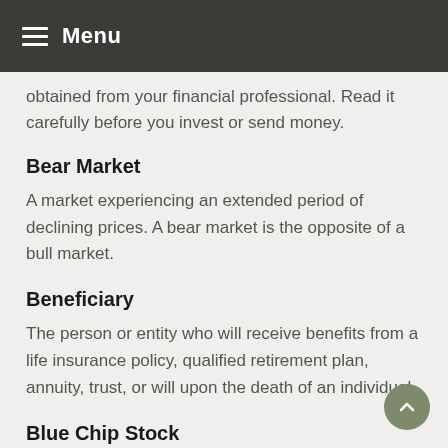Menu
obtained from your financial professional. Read it carefully before you invest or send money.
Bear Market
A market experiencing an extended period of declining prices. A bear market is the opposite of a bull market.
Beneficiary
The person or entity who will receive benefits from a life insurance policy, qualified retirement plan, annuity, trust, or will upon the death of an individual.
Blue Chip Stock
The stock of an established company which has a history of generating a profit and possibly a consistent dividend.